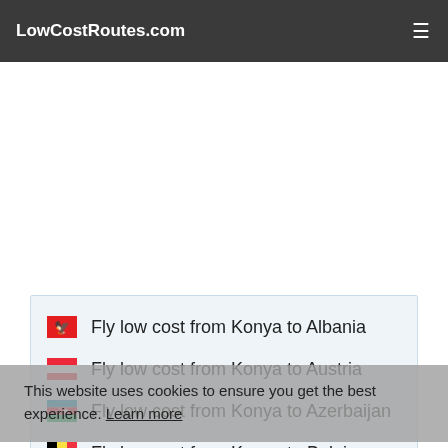LowCostRoutes.com
Fly low cost from Konya to Albania
Fly low cost from Konya to Austria
Fly low cost from Konya to Azerbaijan
Fly low cost from Konya to Belgium
Fly low cost from Konya to Bosnia- Herzegovina
Fly low cost from Konya to Cyprus
This website uses cookies to ensure you get the best experience. Learn more